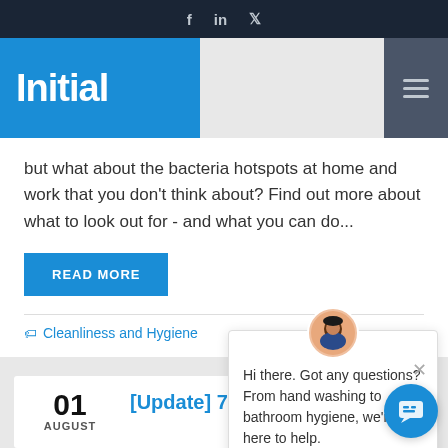f  in  🐦
[Figure (logo): Initial company logo — white bold text 'Initial' on blue background]
but what about the bacteria hotspots at home and work that you don't think about? Find out more about what to look out for - and what you can do...
READ MORE
Cleanliness and Hygiene
[Figure (illustration): Chat popup with avatar. Text: Hi there. Got any questions? From hand washing to bathroom hygiene, we're here to help.]
01 AUGUST
[Update] 7 unexpecte...